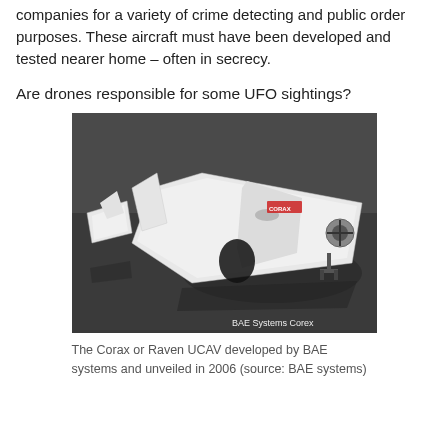companies for a variety of crime detecting and public order purposes. These aircraft must have been developed and tested nearer home – often in secrecy.
Are drones responsible for some UFO sightings?
[Figure (photo): The Corax or Raven UCAV developed by BAE Systems, a white flying wing drone aircraft shown from multiple angles on a dark surface, with 'BAE Systems Corex' watermark in lower right.]
The Corax or Raven UCAV developed by BAE systems and unveiled in 2006 (source: BAE systems)